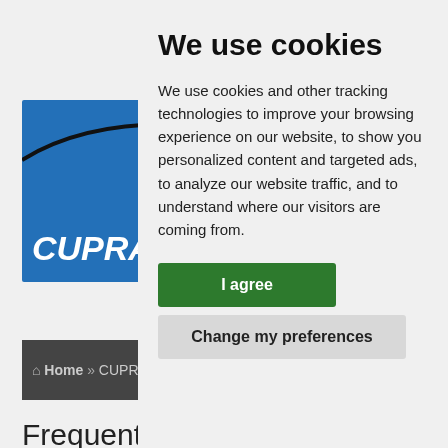[Figure (logo): CUPRAbo website logo - blue rectangle with arc and italic text 'CUPRAbo']
Home » CUPRA
Frequently A
Login and Regist
Why do I need to r
What is COPPA?
Why can't I registe
I registered but ca
Why can't I login?
I registered in the
I've lost my passw
Why do I get logge
What does the "D
We use cookies
We use cookies and other tracking technologies to improve your browsing experience on our website, to show you personalized content and targeted ads, to analyze our website traffic, and to understand where our visitors are coming from.
I agree
Change my preferences